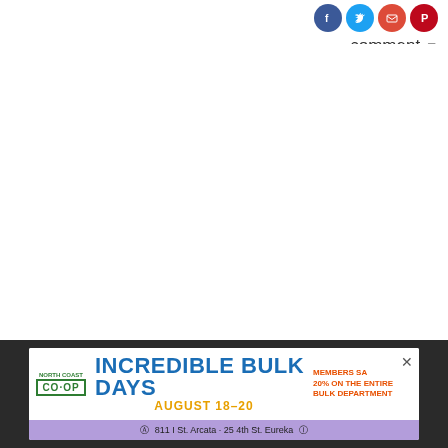[Figure (other): Social media share icons (Facebook, Twitter, Email, Pinterest) as circular colored buttons]
comment ▾
[Figure (photo): Large blank/white photo area showing Humboldt County Public Health Microbiologist Annayal Yikum preparing patient samples for COVID-19 testing process]
Submitted
Humboldt County Public Health Microbiologist Annayal Yikum prepares patient samples for the COVID-19 testing process.
[Figure (other): Advertisement for North Coast Co-op Incredible Bulk Days, August 18-20, Members Save 20% on the entire bulk department, 811 I St. Arcata · 25 4th St. Eureka]